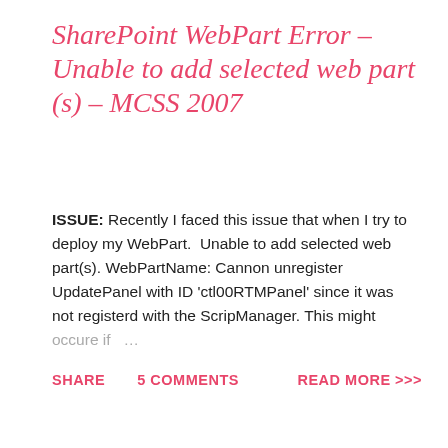SharePoint WebPart Error – Unable to add selected web part (s) – MCSS 2007
ISSUE: Recently I faced this issue that when I try to deploy my WebPart.  Unable to add selected web part(s). WebPartName: Cannon unregister UpdatePanel with ID 'ctl00RTMPanel' since it was not registerd with the ScripManager. This might occure if …
SHARE   5 COMMENTS   READ MORE >>>
[Figure (screenshot): Screenshot of VMware application showing 'Welcome to the New Virtual Machine Wizard' dialog with the VMware logo on the left (orange and blue square logo on dark blue background) and wizard text on the right asking 'What type of configuration do you want?']